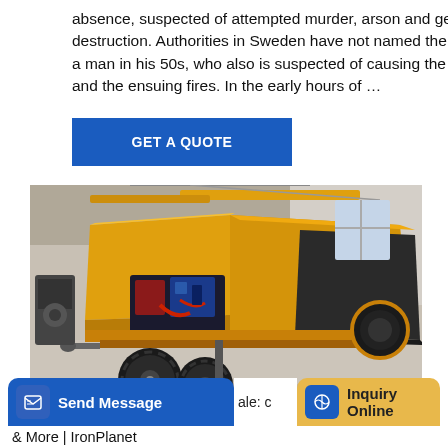absence, suspected of attempted murder, arson and general destruction. Authorities in Sweden have not named the suspect, a man in his 50s, who also is suspected of causing the blast and the ensuing fires. In the early hours of …
GET A QUOTE
[Figure (photo): A yellow mobile concrete pump trailer with open hood showing engine machinery inside, black hopper on the right side, and large rubber tires, photographed in an industrial warehouse setting.]
Send Message
ale: c
Inquiry Online
& More | IronPlanet